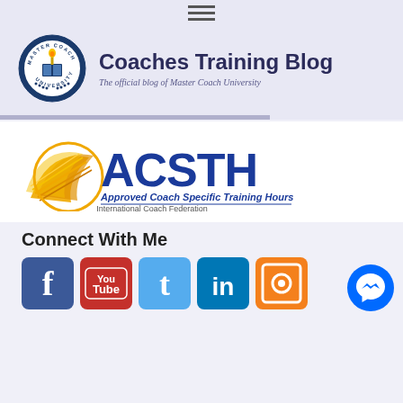[Figure (logo): Hamburger menu icon (three horizontal lines) at top center]
[Figure (logo): Master Coach University circular badge logo with torch and book]
Coaches Training Blog
The official blog of Master Coach University
[Figure (logo): ACSTH logo - Approved Coach Specific Training Hours, International Coach Federation]
Connect With Me
[Figure (infographic): Row of social media icons: Facebook, YouTube, Twitter, LinkedIn, RSS feed]
[Figure (logo): Facebook Messenger floating button, bottom right]